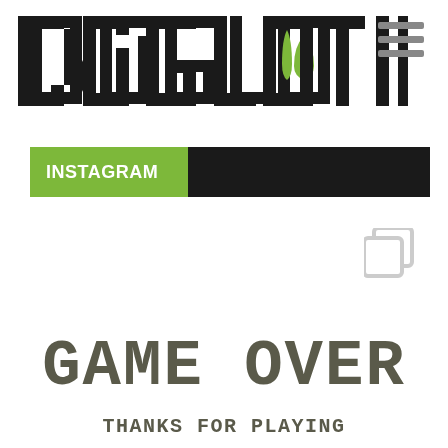[Figure (logo): DogLotion logo in stylized blocky black lettering with a green flame/drop icon inside the letter O]
[Figure (other): Hamburger menu icon (three horizontal grey lines) in top right corner]
INSTAGRAM
[Figure (other): Grey Instagram copy/layers icon in the middle-right area]
GAME OVER
THANKS FOR PLAYING